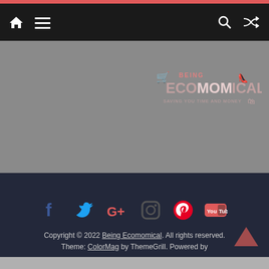Navigation bar with home, menu, search, and shuffle icons
[Figure (logo): Being Ecomomical logo - saving you time and money, shown in the gray content area]
[Figure (infographic): Social media icons row: Facebook, Twitter, Google+, Instagram, Pinterest, YouTube]
Copyright © 2022 Being Ecomomical. All rights reserved. Theme: ColorMag by ThemeGrill. Powered by